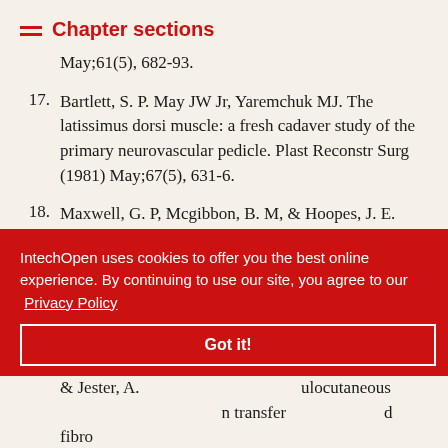Chapter sections
May;61(5), 682-93.
17. Bartlett, S. P. May JW Jr, Yaremchuk MJ. The latissimus dorsi muscle: a fresh cadaver study of the primary neurovascular pedicle. Plast Reconstr Surg (1981) May;67(5), 631-6.
18. Maxwell, G. P, Mcgibbon, B. M, & Hoopes, J. E. Vascular considerations in the use of a latissimus dorsi myocutaneous flap after a mastectomy with an axillary dissection. Plast Reconstr Surg
IntechOpen uses cookies to offer you the best online experience. By continuing to use our site, you agree to our Privacy Policy
Got it!
& Jester, A. mulocutaneous n transfer d fibro sarcoma in a 15-week-old infant: A case report.